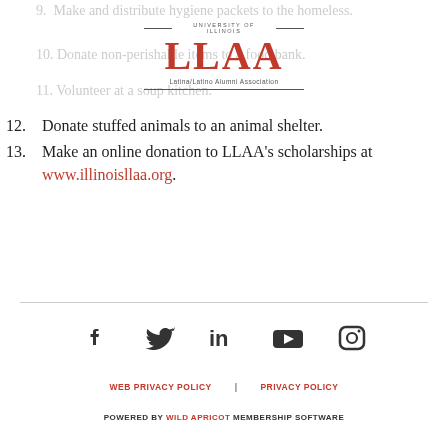9. Make and distribute hygiene packets to the homeless.
[Figure (logo): University of Illinois LLAA Latina/Latino Alumni Association logo with red block letters and horizontal lines]
10. Donate non-perishable items to a food bank.
11. Volunteer at a soup kitchen.
12. Donate stuffed animals to an animal shelter.
13. Make an online donation to LLAA's scholarships at www.illinoisllaa.org.
[Figure (infographic): Row of social media icons: Facebook, Twitter, LinkedIn, YouTube, Instagram]
WEB PRIVACY POLICY   PRIVACY POLICY   POWERED BY WILD APRICOT MEMBERSHIP SOFTWARE